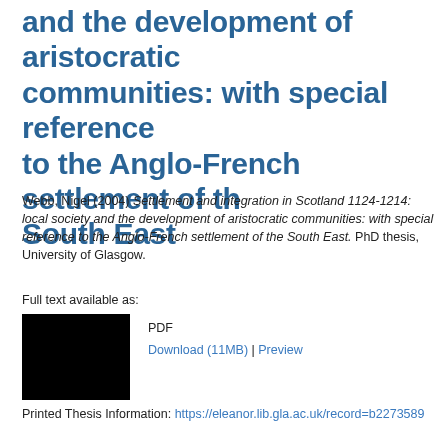and the development of aristocratic communities: with special reference to the Anglo-French settlement of the South East
Webb, Nigel (2004) Settlement and integration in Scotland 1124-1214: local society and the development of aristocratic communities: with special reference to the Anglo-French settlement of the South East. PhD thesis, University of Glasgow.
Full text available as:
[Figure (other): Black thumbnail image representing a PDF document]
PDF
Download (11MB) | Preview
Printed Thesis Information: https://eleanor.lib.gla.ac.uk/record=b2273589
Abstract
A detailed examination of the interactions between individuals and their wid